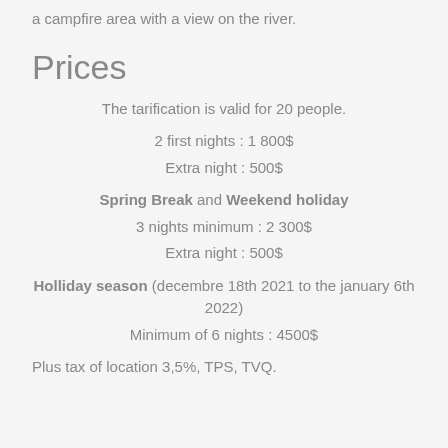a campfire area with a view on the river.
Prices
The tarification is valid for 20 people.
2 first nights : 1 800$
Extra night : 500$
Spring Break and Weekend holiday
3 nights minimum : 2 300$
Extra night : 500$
Holliday season (decembre 18th 2021 to the january 6th 2022)
Minimum of 6 nights : 4500$
Plus tax of location 3,5%, TPS, TVQ.